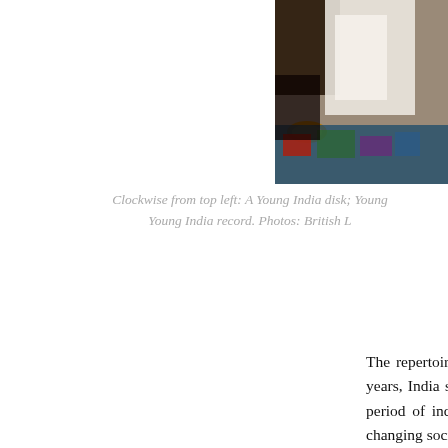[Figure (photo): Partial photograph showing people seated, visible from roughly mid-torso down, with colorful textile/carpet visible. Part of a larger collage of Young India disk and record photos.]
Clockwise from top left: A Young India disk; Young India record. Photos: British L
The repertoire covered music from different regions o During the long tenure of over twenty years, India such as the movement and struggle for freedom, In the beginning of the romantic period of independen produced. Thus, there are speeches of great leaders subjects depicting changing social and political situat
In late 1948, the 'National Gramophone Record' fact and financial problems which severely curtailed its slowly and by late 1955, the factory had closed dowr greatly reduced prices to a number of agencies. With destroyed or scrapped. Slowly, all the material related
It is estimated that over 1,000 records are available located in Mumbai, Ahmadabad, Delhi, Chennai an